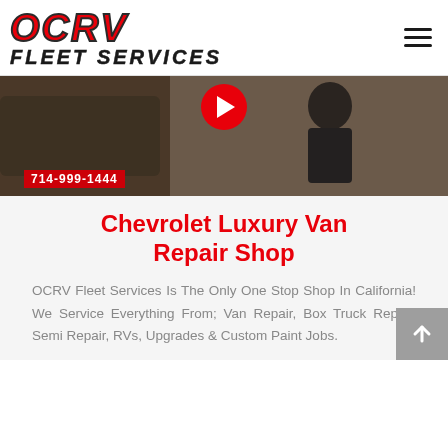[Figure (logo): OCRV Fleet Services logo with red italic OCRV text and black FLEET SERVICES text]
[Figure (screenshot): YouTube video thumbnail showing a person in dark clothing with RV in background, red play button, phone number 714-999-1444 overlay]
Chevrolet Luxury Van Repair Shop
OCRV Fleet Services Is The Only One Stop Shop In California! We Service Everything From; Van Repair, Box Truck Repair, Semi Repair, RVs, Upgrades & Custom Paint Jobs.